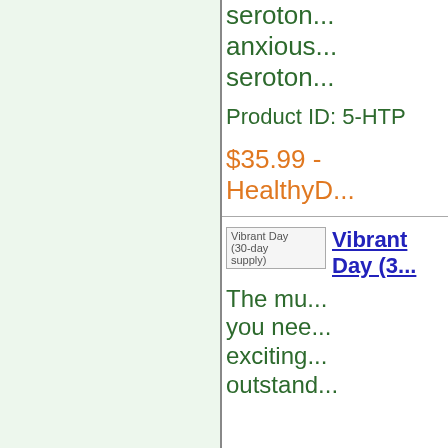seroton... anxious... seroton...
Product ID: 5-HTP
$35.99 - HealthyD...
[Figure (photo): Vibrant Day (30-day supply) product image placeholder]
Vibrant Day (30-day supply)
The mu... you nee... exciting... outstand...